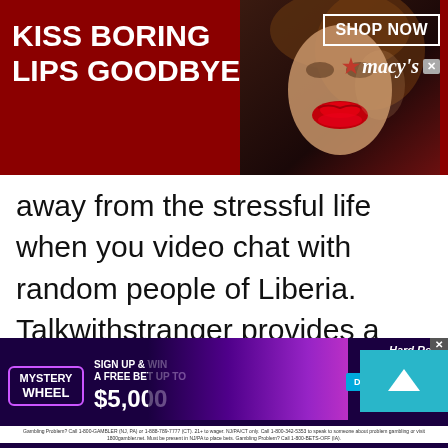[Figure (screenshot): Top advertisement banner for Macy's with dark red background, showing woman's face with red lips, text 'KISS BORING LIPS GOODBYE', 'SHOP NOW' button, and Macy's star logo]
away from the stressful life when you video chat with random people of Liberia. Talkwithstranger provides a gateway to some me time where adults, teens and kids can have free chat, random chat, stranger chat whether text chat or video chat with
[Figure (screenshot): Bottom advertisement banner for Hard Rock Sportsbook Mystery Wheel promotion, dark purple background with neon accents, 'SIGN UP & WIN A FREE BET UP TO $5,000', 'DOWNLOAD NOW' button]